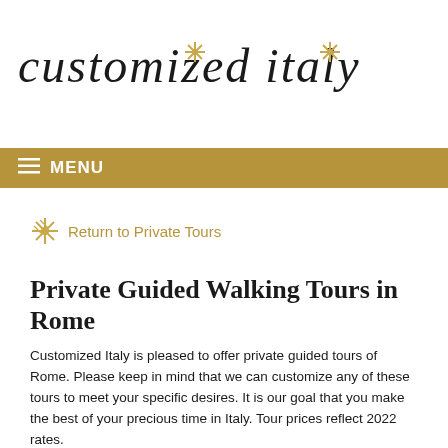[Figure (logo): Customized Italy logo with stylized italic text and decorative sun/asterisk symbols]
≡ MENU
Return to Private Tours
Private Guided Walking Tours in Rome
Customized Italy is pleased to offer private guided tours of Rome. Please keep in mind that we can customize any of these tours to meet your specific desires. It is our goal that you make the best of your precious time in Italy. Tour prices reflect 2022 rates.